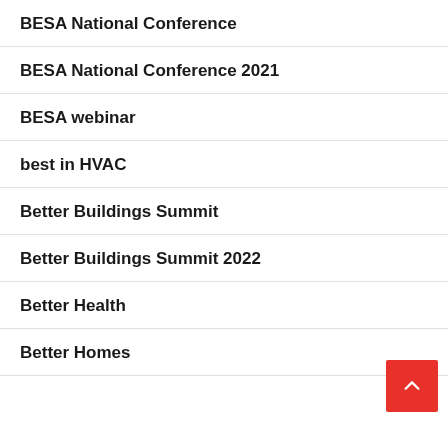BESA National Conference
BESA National Conference 2021
BESA webinar
best in HVAC
Better Buildings Summit
Better Buildings Summit 2022
Better Health
Better Homes